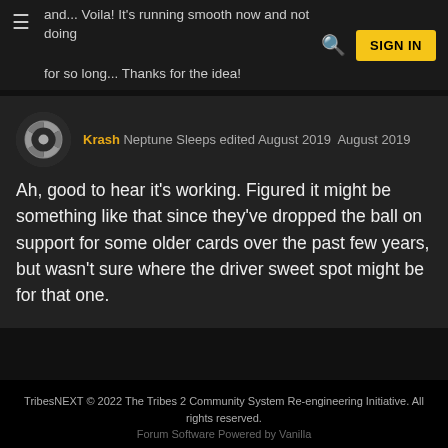and... Voila! It's running smooth now and not doing [navigation] for so long... Thanks for the idea!
Krash Neptune Sleeps edited August 2019  August 2019
Ah, good to hear it's working. Figured it might be something like that since they've dropped the ball on support for some older cards over the past few years, but wasn't sure where the driver sweet spot might be for that one.
Sign In or Register to comment.
TribesNEXT © 2022 The Tribes 2 Community System Re-engineering Initiative. All rights reserved.
Forum Software Powered by Vanilla